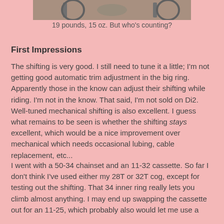[Figure (photo): Partial view of a bicycle, cropped at top of page]
19 pounds, 15 oz. But who's counting?
First Impressions
The shifting is very good. I still need to tune it a little; I'm not getting good automatic trim adjustment in the big ring. Apparently those in the know can adjust their shifting while riding. I'm not in the know. That said, I'm not sold on Di2. Well-tuned mechanical shifting is also excellent. I guess what remains to be seen is whether the shifting stays excellent, which would be a nice improvement over mechanical which needs occasional lubing, cable replacement, etc...
I went with a 50-34 chainset and an 11-32 cassette. So far I don't think I've used either my 28T or 32T cog, except for testing out the shifting. That 34 inner ring really lets you climb almost anything. I may end up swapping the cassette out for an 11-25, which probably also would let me use a